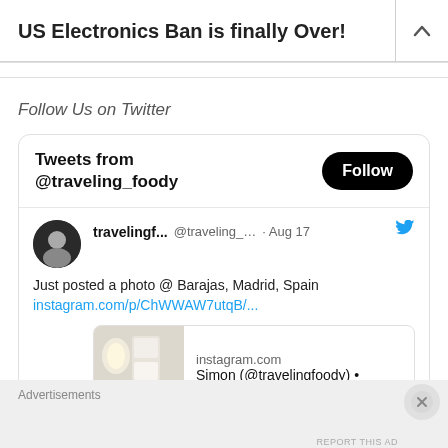US Electronics Ban is finally Over!
Follow Us on Twitter
[Figure (screenshot): Twitter widget showing 'Tweets from @traveling_foody' with a Follow button, and a tweet by travelingf... (@traveling_...) dated Aug 17 saying 'Just posted a photo @ Barajas, Madrid, Spain instagram.com/p/ChWWAW7utqB/...' with an instagram.com preview card showing an airplane interior photo and text 'Simon (@travelingfoody) •']
Advertisements